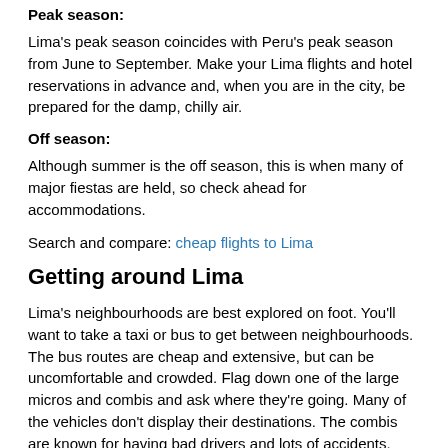Peak season:
Lima's peak season coincides with Peru's peak season from June to September. Make your Lima flights and hotel reservations in advance and, when you are in the city, be prepared for the damp, chilly air.
Off season:
Although summer is the off season, this is when many of major fiestas are held, so check ahead for accommodations.
Search and compare: cheap flights to Lima
Getting around Lima
Lima's neighbourhoods are best explored on foot. You'll want to take a taxi or bus to get between neighbourhoods. The bus routes are cheap and extensive, but can be uncomfortable and crowded. Flag down one of the large micros and combis and ask where they're going. Many of the vehicles don't display their destinations. The combis are known for having bad drivers and lots of accidents. The taxis are also cheap, but they aren't regulated and don't have meters. They're designated by a marked plastic sign on the windshield. Make sure you agree on a fare before you get in. If you call ahead for a registered cab, you won't be able to negotiate the fare. You'll also